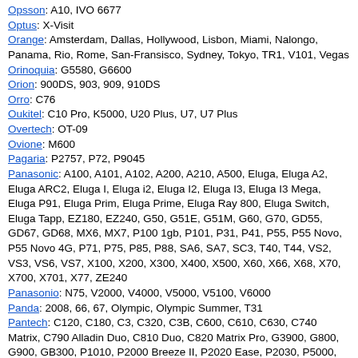Opsson: A10, IVO 6677
Optus: X-Visit
Orange: Amsterdam, Dallas, Hollywood, Lisbon, Miami, Nalongo, Panama, Rio, Rome, San-Fransisco, Sydney, Tokyo, TR1, V101, Vegas
Orinoquia: G5580, G6600
Orion: 900DS, 903, 909, 910DS
Orro: C76
Oukitel: C10 Pro, K5000, U20 Plus, U7, U7 Plus
Overtech: OT-09
Ovione: M600
Pagaria: P2757, P72, P9045
Panasonic: A100, A101, A102, A200, A210, A500, Eluga, Eluga A2, Eluga ARC2, Eluga I, Eluga i2, Eluga I2, Eluga I3, Eluga I3 Mega, Eluga P91, Eluga Prim, Eluga Prime, Eluga Ray 800, Eluga Switch, Eluga Tapp, EZ180, EZ240, G50, G51E, G51M, G60, G70, GD55, GD67, GD68, MX6, MX7, P100 1gb, P101, P31, P41, P55, P55 Novo, P55 Novo 4G, P71, P75, P85, P88, SA6, SA7, SC3, T40, T44, VS2, VS3, VS6, VS7, X100, X200, X300, X400, X500, X60, X66, X68, X70, X700, X701, X77, ZE240
Panasonio: N75, V2000, V4000, V5000, V5100, V6000
Panda: 2008, 66, 67, Olympic, Olympic Summer, T31
Pantech: C120, C180, C3, C320, C3B, C600, C610, C630, C740 Matrix, C790 Alladin Duo, C810 Duo, C820 Matrix Pro, G3900, G800, G900, GB300, P1010, P2000 Breeze II, P2020 Ease, P2030, P5000, P6010, P7000 Impact, P7040 Link, P7040P, P8000 Crossover, P9020 Pursuit, P9050 Laser, PG-1000, PG-1200, PG-1210, PG-1400, PG-1405, PG-1410, PG-1500, PG-3000, PG-3200, PG-3210, PG-3500, PG-3600, PG-3810, PG-6100, PG-C300, PN210
Panther: Q777+
Papaphone: PP7
Pawan: 2975
PCD: CL1133, CL1135, CL1136EN, CLX100PR, GLPF1114MX, GPF1134CA, GPFI1238CW, GTX212, PL550, TTX28MX